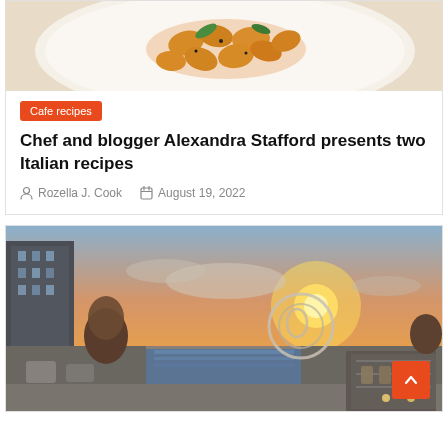[Figure (photo): Close-up photo of pasta dish with gnocchi or shell pasta in sauce, served on a white plate, top-down view with herbs]
Cafe recipes
Chef and blogger Alexandra Stafford presents two Italian recipes
Rozella J. Cook   August 19, 2022
[Figure (photo): Rooftop terrace restaurant at sunset with a large circular sculpture, pool reflection, seating with chairs and tables, city skyline in background]